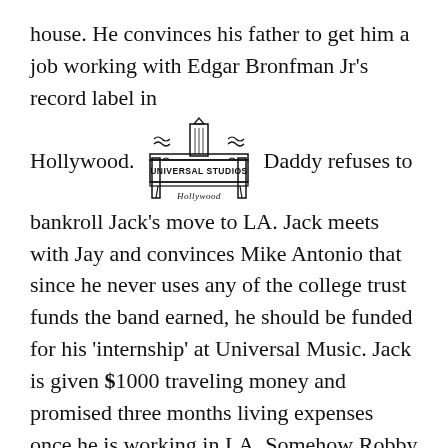house. He convinces his father to get him a job working with Edgar Bronfman Jr's record label in Hollywood. [Universal Studios Hollywood logo] Daddy refuses to bankroll Jack's move to LA. Jack meets with Jay and convinces Mike Antonio that since he never uses any of the college trust funds the band earned, he should be funded for his 'internship' at Universal Music. Jack is given $1000 traveling money and promised three months living expenses once he is working in LA. Somehow Robby finds out about the plans. Jack packs the Cabriolet the night before he is  to leave.
[Figure (logo): Universal Studios Hollywood logo — ornate gate with 'UNIVERSAL STUDIOS Hollywood' text]
“I’m leaving tomorrow,” Jack announces to Robby. “You have to move out.”
“Fine.” Robby doesn’t complain